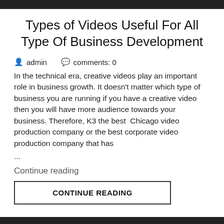[Figure (photo): Dark image bar at top of page]
Types of Videos Useful For All Type Of Business Development
admin   comments: 0
In the technical era, creative videos play an important role in business growth. It doesn't matter which type of business you are running if you have a creative video then you will have more audience towards your business. Therefore, K3 the best Chicago video production company or the best corporate video production company that has ...
Continue reading
CONTINUE READING
[Figure (photo): Dark image bar at bottom of page]